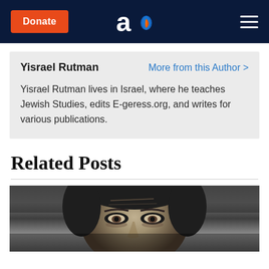Donate | [Aish logo] | [Menu]
Yisrael Rutman | More from this Author >
Yisrael Rutman lives in Israel, where he teaches Jewish Studies, edits E-geress.org, and writes for various publications.
Related Posts
[Figure (photo): Black and white close-up photo of an elderly man's face, showing eyes, forehead and nose area]